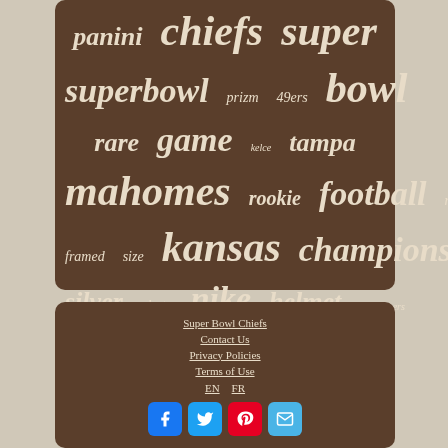[Figure (infographic): Word cloud with football/sports related terms on brown background: ticket, packers, champs, auto, panini, chiefs, super, superbowl, prizm, 49ers, bowl, rare, game, kelce, tampa, mahomes, rookie, football, mint, framed, size, kansas, champions, silver, photo, nike, helmet, buccaneers]
Super Bowl Chiefs
Contact Us
Privacy Policies
Terms of Use
EN   FR
[Figure (infographic): Social media icons row: Facebook (blue), Twitter (light blue), Pinterest (red), Email/Mail (light blue)]